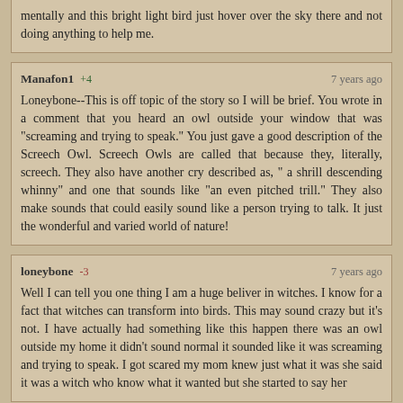mentally and this bright light bird just hover over the sky there and not doing anything to help me.
Manafon1 +4   7 years ago
Loneybone--This is off topic of the story so I will be brief. You wrote in a comment that you heard an owl outside your window that was "screaming and trying to speak." You just gave a good description of the Screech Owl. Screech Owls are called that because they, literally, screech. They also have another cry described as, " a shrill descending whinny" and one that sounds like "an even pitched trill." They also make sounds that could easily sound like a person trying to talk. It just the wonderful and varied world of nature!
loneybone -3   7 years ago
Well I can tell you one thing I am a huge beliver in witches. I know for a fact that witches can transform into birds. This may sound crazy but it's not. I have actually had something like this happen there was an owl outside my home it didn't sound normal it sounded like it was screaming and trying to speak. I got scared my mom knew just what it was she said it was a witch who know what it wanted but she started to say her